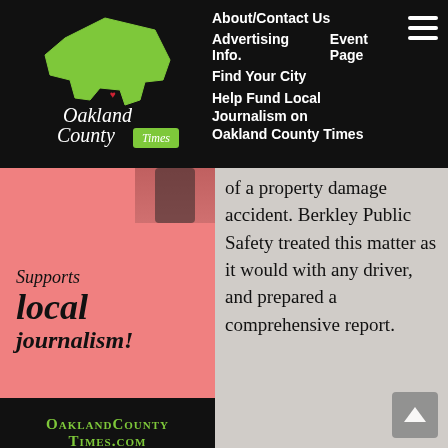[Figure (logo): Oakland County Times logo with Michigan state outline in green and website navigation menu on black background]
[Figure (advertisement): Oakland County Times advertisement: 'Supports local journalism!' on pink background, OaklandCountyTimes.com on black background]
of a property damage accident. Berkley Public Safety treated this matter as it would with any driver, and prepared a comprehensive report.
Mr. Kideckel was elected to the City Council in November 2011. Because Mr. Kideckel is a publicly elected official in Berkley, the City Attorney referred the prosecution of these citations to Royal Oak. This immediate decision ensured there was no favorable treatment (nor appearance thereof) by the criminal justice system.